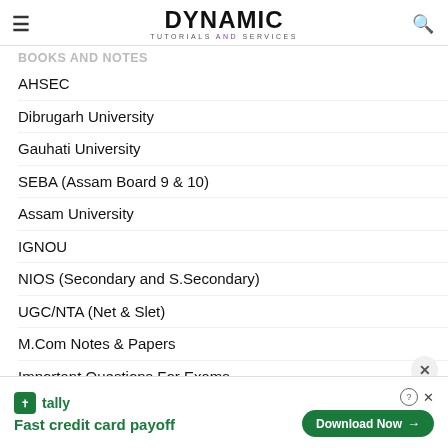DYNAMIC TUTORIALS AND SERVICES
BOOKS AND NOTES
AHSEC
Dibrugarh University
Gauhati University
SEBA (Assam Board 9 & 10)
Assam University
IGNOU
NIOS (Secondary and S.Secondary)
UGC/NTA (Net & Slet)
M.Com Notes & Papers
Important Questions For Exams
Syllabus
[Figure (screenshot): Tally advertisement banner: Fast credit card payoff with Download Now button]